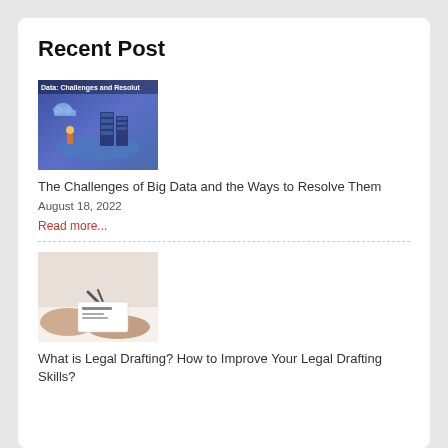Recent Post
[Figure (photo): Illustration for Big Data article showing digital data visualization scene with blue background and technology elements, with text 'Data: Challenges and Resolut' overlaid at top]
The Challenges of Big Data and the Ways to Resolve Them
August 18, 2022
Read more...
[Figure (photo): Photo showing hands holding scissors cutting paper or card, suggesting legal document work, with white/grey background]
What is Legal Drafting? How to Improve Your Legal Drafting Skills?